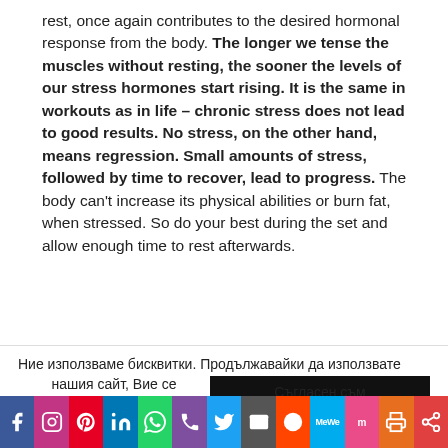rest, once again contributes to the desired hormonal response from the body. The longer we tense the muscles without resting, the sooner the levels of our stress hormones start rising. It is the same in workouts as in life – chronic stress does not lead to good results. No stress, on the other hand, means regression. Small amounts of stress, followed by time to recover, lead to progress. The body can't increase its physical abilities or burn fat, when stressed. So do your best during the set and allow enough time to rest afterwards.
Ние използваме бисквитки. Продължавайки да използвате нашия сайт, Вие се съгласявате с това. Съгласен съм
[Figure (infographic): Social media sharing bar with icons for Facebook, Instagram, Pinterest, LinkedIn, WhatsApp, Phone, Twitter, Email, Reddit, MeWe, Mix, Print, Share]